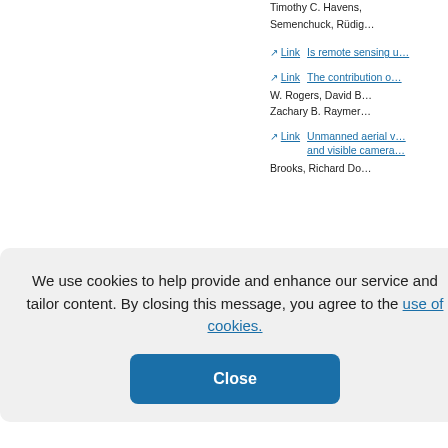Timothy C. Havens, Semenchuck, Rüdig...
Link — Is remote sensing u...
Link — The contribution o... W. Rogers, David B... Zachary B. Raymer...
Link — Unmanned aerial v... and visible camera... Brooks, Richard Do...
...ing fuel cha... d, Maureen ...ischke, Sim...
...view of twe... ...ity of New B... ...emote sens... G Strickland... Akexander, and Mi...
We use cookies to help provide and enhance our service and tailor content. By closing this message, you agree to the use of cookies.
Close